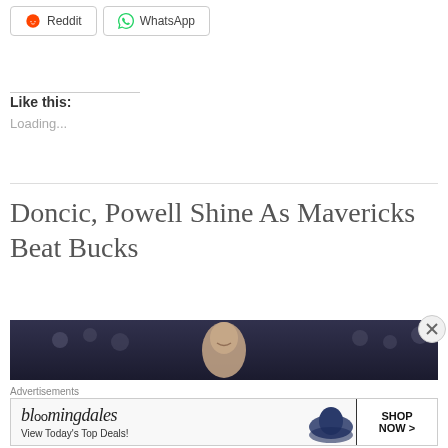[Figure (other): Social sharing buttons: Reddit and WhatsApp]
Like this:
Loading...
Doncic, Powell Shine As Mavericks Beat Bucks
[Figure (photo): Dark photo strip showing a smiling basketball player in an arena crowd]
Advertisements
[Figure (other): Bloomingdale's advertisement: 'View Today's Top Deals!' with SHOP NOW > button and woman with large blue hat]